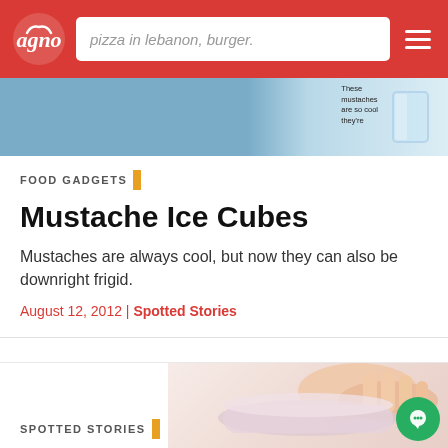pizza in lebanon, burger.
[Figure (screenshot): Banner image with blue background and product photo of mustache ice cube tray in a glass on the right side]
FOOD GADGETS
Mustache Ice Cubes
Mustaches are always cool, but now they can also be downright frigid.
August 12, 2012 | Spotted Stories
[Figure (photo): Hand holding a pink/clear mustache-shaped ice cube tray mold]
SPOTTED STORIES